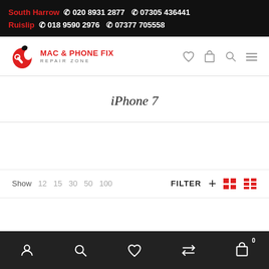South Harrow 📞 020 8931 2877  📞 07305 436441  Ruislip 📞 018 9590 2976  📞 07377 705558
[Figure (logo): Mac & Phone Fix Repair Zone logo — red apple icon with wrench, red brand name, grey subtitle]
iPhone 7
Show 12 15 30 50 100  FILTER + [grid view] [list view]
Bottom navigation bar with account, search, wishlist, compare, and cart (0) icons